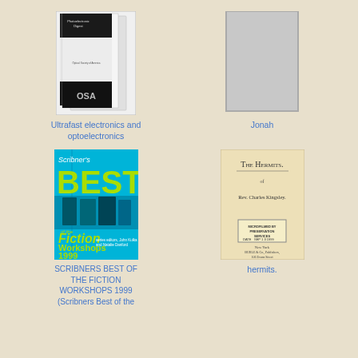[Figure (photo): Book cover: Ultrafast electronics and optoelectronics, black and white OSA publication]
Ultrafast electronics and optoelectronics
[Figure (photo): Book cover: Jonah - gray placeholder image]
Jonah
[Figure (photo): Book cover: Scribner's Best of the Fiction Workshops 1999, guest editor Sherman Alexie, cyan/teal cover with green text]
SCRIBNERS BEST OF THE FICTION WORKSHOPS 1999 (Scribners Best of the
[Figure (photo): Book cover: The Hermits by Rev. Charles Kingsley, aged paper cover with microfilmed by preservation services stamp]
hermits.